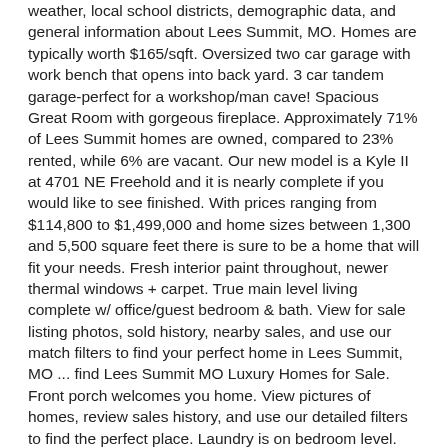weather, local school districts, demographic data, and general information about Lees Summit, MO. Homes are typically worth $165/sqft. Oversized two car garage with work bench that opens into back yard. 3 car tandem garage-perfect for a workshop/man cave! Spacious Great Room with gorgeous fireplace. Approximately 71% of Lees Summit homes are owned, compared to 23% rented, while 6% are vacant. Our new model is a Kyle II at 4701 NE Freehold and it is nearly complete if you would like to see finished. With prices ranging from $114,800 to $1,499,000 and home sizes between 1,300 and 5,500 square feet there is sure to be a home that will fit your needs. Fresh interior paint throughout, newer thermal windows + carpet. True main level living complete w/ office/guest bedroom & bath. View for sale listing photos, sold history, nearby sales, and use our match filters to find your perfect home in Lees Summit, MO ... find Lees Summit MO Luxury Homes for Sale. Front porch welcomes you home. View pictures of homes, review sales history, and use our detailed filters to find the perfect place. Laundry is on bedroom level. Lee's Summit, MO 64082 4 beds , 2 full, 1 partial baths | Single Family Home 2,664 sq ft ; lot: 0.57 acres Huge FINISHED basement rec room with walkout patio! Search Lees Summit, MO 64086 homes for sale, real estate, and MLS Listings. Over 32 homebuilders have together in the Lees Summit, MO to produce some 500 new construction floor plans. Homes for sale in Lees Summit, MO have a median listing price of $299,000. Houses for Sale Near Me Houses for Sale Near Me by Owner Open Houses Near Me Land for Sale Near Me Townhomes for Sale Near Me Condos for Sale Near Me Unity Village Real Estate Lake Winnebago Real Estate Greenwood ... Lees Summit MO real estate listings updated every 15min. Appliances include...